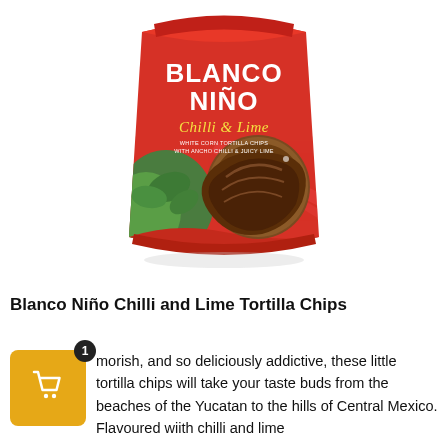[Figure (photo): Blanco Niño Chilli & Lime white corn tortilla chips bag. Red bag with bold white text 'BLANCO NIÑO', yellow cursive 'Chilli & Lime', green plant illustration, visible tortilla chips through a window, and a scenic field background.]
Blanco Niño Chilli and Lime Tortilla Chips
morish, and so deliciously addictive, these little tortilla chips will take your taste buds from the beaches of the Yucatan to the hills of Central Mexico. Flavoured wiith chilli and lime